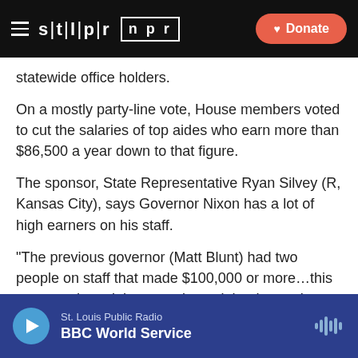STLPR | NPR — Donate
statewide office holders.
On a mostly party-line vote, House members voted to cut the salaries of top aides who earn more than $86,500 a year down to that figure.
The sponsor, State Representative Ryan Silvey (R, Kansas City), says Governor Nixon has a lot of high earners on his staff.
"The previous governor (Matt Blunt) had two people on staff that made $100,000 or more…this governor has eight, count 'em, eight, that make a hundred thousand or more (per year)." Silvey said
St. Louis Public Radio — BBC World Service